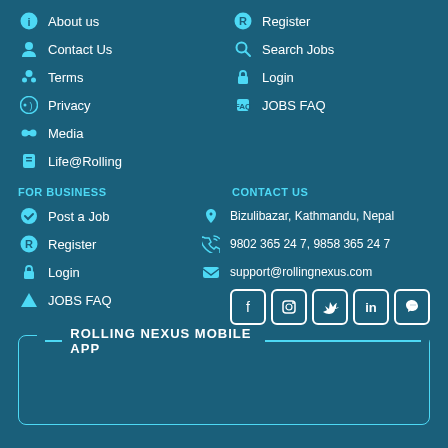About us
Register
Contact Us
Search Jobs
Terms
Login
Privacy
JOBS FAQ
Media
Life@Rolling
FOR BUSINESS
CONTACT US
Post a Job
Bizulibazar, Kathmandu, Nepal
Register
9802 365 24 7, 9858 365 24 7
Login
support@rollingnexus.com
JOBS FAQ
[Figure (infographic): Social media icons: Facebook, Instagram, Twitter, LinkedIn, Viber]
ROLLING NEXUS MOBILE APP